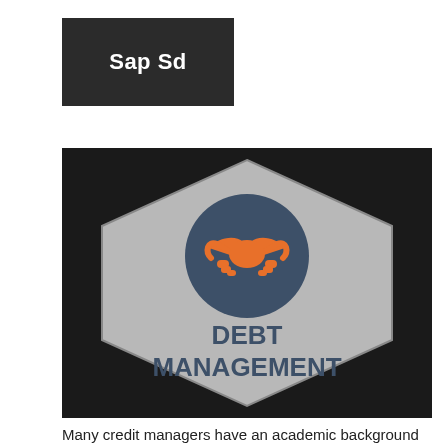Sap Sd
[Figure (illustration): Hexagonal badge with dark navy background, containing a gray hexagon shape. In the center is a dark navy circle with an orange handshake icon. Below the circle, bold dark navy text reads 'DEBT MANAGEMENT'.]
Many credit managers have an academic background in